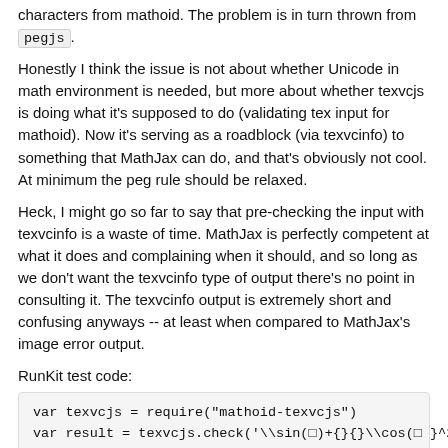characters from mathoid. The problem is in turn thrown from pegjs.
Honestly I think the issue is not about whether Unicode in math environment is needed, but more about whether texvcjs is doing what it's supposed to do (validating tex input for mathoid). Now it's serving as a roadblock (via texvcinfo) to something that MathJax can do, and that's obviously not cool. At minimum the peg rule should be relaxed.
Heck, I might go so far to say that pre-checking the input with texvcinfo is a waste of time. MathJax is perfectly competent at what it does and complaining when it should, and so long as we don't want the texvcinfo type of output there's no point in consulting it. The texvcinfo output is extremely short and confusing anyways -- at least when compared to MathJax's image error output.
RunKit test code:
var texvcjs = require("mathoid-texvcjs")
var result = texvcjs.check('\\sin(□)+{}{}\\cos(□ }^2 ');
console.log(result);